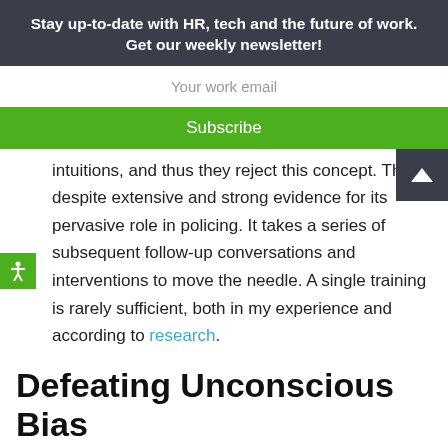Stay up-to-date with HR, tech and the future of work. Get our weekly newsletter!
Your work email
Subscribe
intuitions, and thus they reject this concept. This, despite extensive and strong evidence for its pervasive role in policing. It takes a series of subsequent follow-up conversations and interventions to move the needle. A single training is rarely sufficient, both in my experience and according to research.
Defeating Unconscious Bias
This example of how to fight unconscious bias illustrates broader patterns you need to follow to address unconscious bias and make the best people